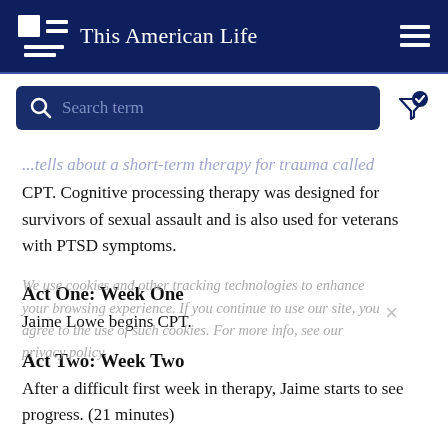This American Life
[Figure (screenshot): Search bar with dark navy background, magnifying glass icon, placeholder text 'Search term', and filter icon with checkmark]
...tells about a short-term therapy for trauma called CPT. Cognitive processing therapy was designed for survivors of sexual assault and is also used for veterans with PTSD symptoms.
Act One: Week One
Jaime Lowe begins CPT.
Act Two: Week Two
After a difficult first week in therapy, Jaime starts to see progress. (21 minutes)
We use cookies and other tracking technologies to enhance your browsing experience. If you continue to use our site, you agree to the use of such cookies. For more info, see our privacy policy.